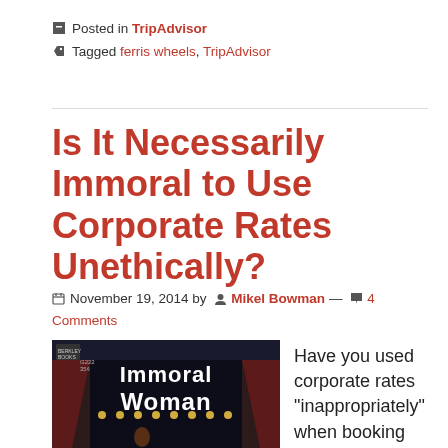Posted in TripAdvisor
Tagged ferris wheels, TripAdvisor
Is It Necessarily Immoral to Use Corporate Rates Unethically?
November 19, 2014 by Mikel Bowman — 4 Comments
[Figure (photo): Cover of a pulp novel titled 'Immoral Woman' with dark atmospheric imagery]
Have you used corporate rates “inappropriately” when booking